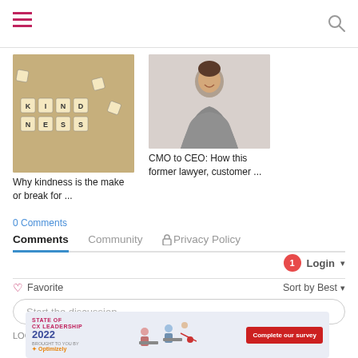Navigation header with hamburger menu and search icon
[Figure (photo): Scrabble tiles spelling KINDNESS on a wooden surface]
Why kindness is the make or break for ...
[Figure (photo): Woman sitting in chair smiling, wearing grey blazer]
CMO to CEO: How this former lawyer, customer ...
0 Comments
Comments   Community   🔒 Privacy Policy
🔔1   Login ▾
♡ Favorite   Sort by Best ▾
Start the discussion…
LOG IN W
[Figure (infographic): Advertisement banner: STATE OF CX LEADERSHIP 2022, brought to you by Optimizely, Complete our survey button]